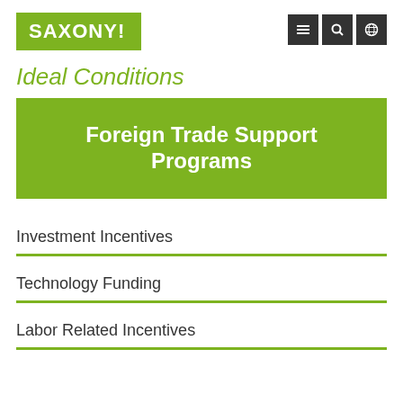SAXONY!
Ideal Conditions
Foreign Trade Support Programs
Investment Incentives
Technology Funding
Labor Related Incentives